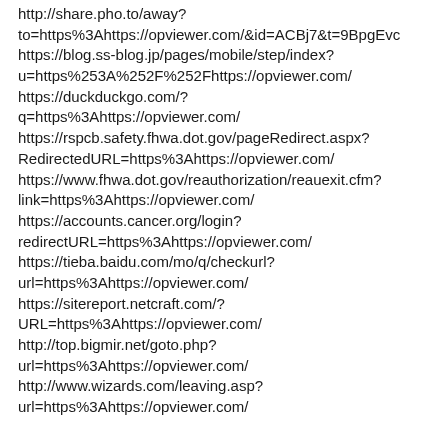http://share.pho.to/away?to=https%3Ahttps://opviewer.com/&id=ACBj7&t=9BpgEvc
https://blog.ss-blog.jp/pages/mobile/step/index?u=https%253A%252F%252Fhttps://opviewer.com/
https://duckduckgo.com/?q=https%3Ahttps://opviewer.com/
https://rspcb.safety.fhwa.dot.gov/pageRedirect.aspx?RedirectedURL=https%3Ahttps://opviewer.com/
https://www.fhwa.dot.gov/reauthorization/reauexit.cfm?link=https%3Ahttps://opviewer.com/
https://accounts.cancer.org/login?redirectURL=https%3Ahttps://opviewer.com/
https://tieba.baidu.com/mo/q/checkurl?url=https%3Ahttps://opviewer.com/
https://sitereport.netcraft.com/?URL=https%3Ahttps://opviewer.com/
http://top.bigmir.net/goto.php?url=https%3Ahttps://opviewer.com/
http://www.wizards.com/leaving.asp?url=https%3Ahttps://opviewer.com/